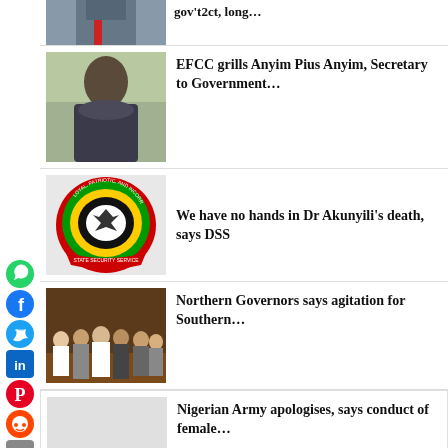[Figure (photo): Partial photo of a man in a suit with red tie, top of page]
gov't2ct, long…
[Figure (photo): Photo of Anyim Pius Anyim, a heavyset man]
EFCC grills Anyim Pius Anyim, Secretary to Government…
[Figure (logo): DSS (State Security Service) circular logo with eagle and Nigerian colors]
We have no hands in Dr Akunyili's death, says DSS
[Figure (photo): Group photo of Northern Governors standing together]
Northern Governors says agitation for Southern…
Nigerian Army apologises, says conduct of female…
Over 8,000 Boko Haram…